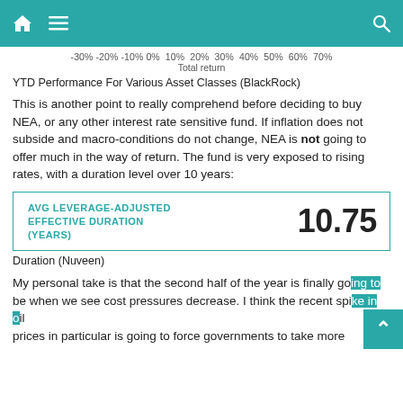[Navigation bar with home, menu, and search icons]
-30% -20% -10% 0% 10% 20% 30% 40% 50% 60% 70%
Total return
YTD Performance For Various Asset Classes (BlackRock)
This is another point to really comprehend before deciding to buy NEA, or any other interest rate sensitive fund. If inflation does not subside and macro-conditions do not change, NEA is not going to offer much in the way of return. The fund is very exposed to rising rates, with a duration level over 10 years:
| AVG LEVERAGE-ADJUSTED EFFECTIVE DURATION (YEARS) |  |
| --- | --- |
|  | 10.75 |
Duration (Nuveen)
My personal take is that the second half of the year is finally going to be when we see cost pressures decrease. I think the recent spike in oil prices in particular is going to force governments to take more